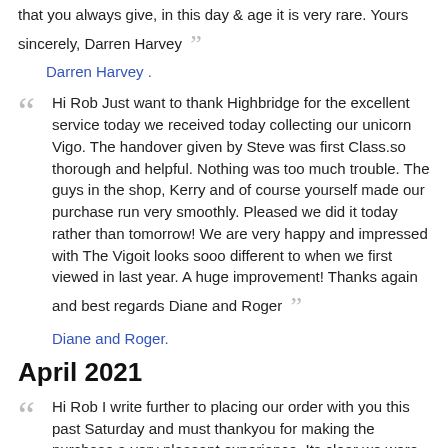that you always give, in this day & age it is very rare. Yours sincerely, Darren Harvey ”
Darren Harvey .
“ Hi Rob Just want to thank Highbridge for the excellent service today we received today collecting our unicorn Vigo. The handover given by Steve was first Class.so thorough and helpful. Nothing was too much trouble. The guys in the shop, Kerry and of course yourself made our purchase run very smoothly. Pleased we did it today rather than tomorrow! We are very happy and impressed with The Vigoit looks sooo different to when we first viewed in last year. A huge improvement! Thanks again and best regards Diane and Roger ”
Diane and Roger.
April 2021
“ Hi Rob I write further to placing our order with you this past Saturday and must thankyou for making the purchase a very pleasant experience. Its clear we were not prepared to stumble across the very caravan we had wished for given there are none